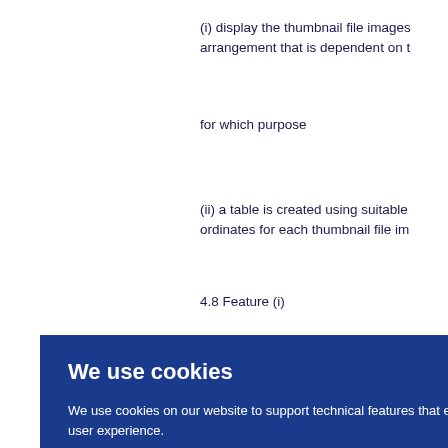(i) display the thumbnail file images arrangement that is dependent on t
for which purpose
(ii) a table is created using suitable ordinates for each thumbnail file im
4.8 Feature (i)
[Figure (other): Cookie consent banner overlay with blue background. Title: 'We use cookies'. Body text: 'We use cookies on our website to support technical features that enhance your user experience. We also use analytics. Access full information on cookies that we use and how to manage them'. OK button on right side.]
man o a p e 52(2 with ee T
that
s", wh